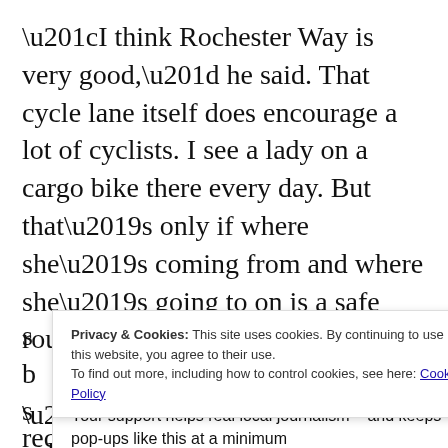“I think Rochester Way is very good,” he said. That cycle lane itself does encourage a lot of cyclists. I see a lady on a cargo bike there every day. But that’s only if where she’s coming from and where she’s going to on is a safe route.

“Wands and paint are a cheap solution but they can work. But we need a set of through routes – north south, east west, that people can join
Privacy & Cookies: This site uses cookies. By continuing to use this website, you agree to their use.
To find out more, including how to control cookies, see here: Cookie Policy
Your support helps real local journalism – and keeps pop-ups like this at a minimum